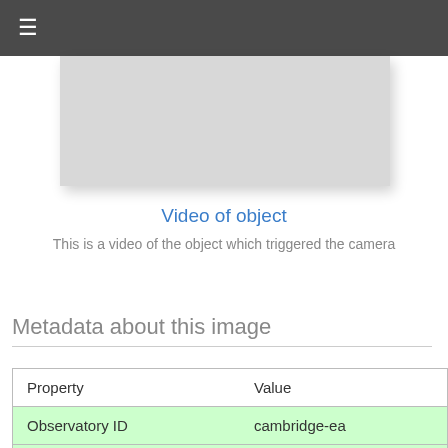≡
[Figure (other): Gray placeholder box representing a video of an object which triggered the camera]
Video of object
This is a video of the object which triggered the camera
Metadata about this image
| Property | Value |
| --- | --- |
| Observatory ID | cambridge-ea |
| Unix timestamp | 1642440999 |